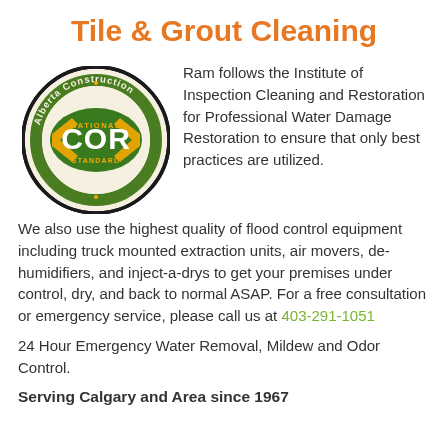Tile & Grout Cleaning
[Figure (logo): Alberta Construction Safety Association COR National Standard certification badge — circular seal with green and yellow design, 'COR' in white letters on green background with yellow chevrons, surrounded by text 'Alberta Construction Safety Association' and 'National Standard']
Ram follows the Institute of Inspection Cleaning and Restoration for Professional Water Damage Restoration to ensure that only best practices are utilized.
We also use the highest quality of flood control equipment including truck mounted extraction units, air movers, de-humidifiers, and inject-a-drys to get your premises under control, dry, and back to normal ASAP. For a free consultation or emergency service, please call us at 403-291-1051
24 Hour Emergency Water Removal, Mildew and Odor Control.
Serving Calgary and Area since 1967